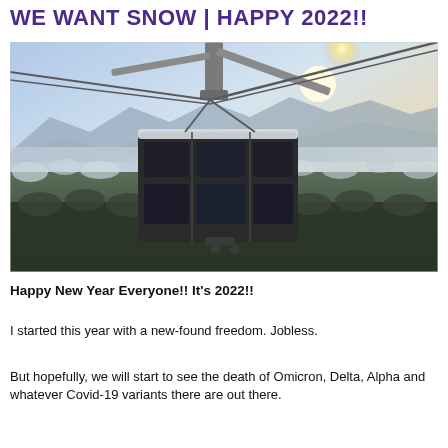WE WANT SNOW | HAPPY 2022!!
[Figure (photo): A cable car gondola suspended on steel cables high above a snow-covered forest. The gondola is large and boxy with dark glass windows. In the background, a hazy mountain range and a bright sun shining through the mist.]
Happy New Year Everyone!! It's 2022!!
I started this year with a new-found freedom. Jobless.
But hopefully, we will start to see the death of Omicron, Delta, Alpha and whatever Covid-19 variants there are out there.